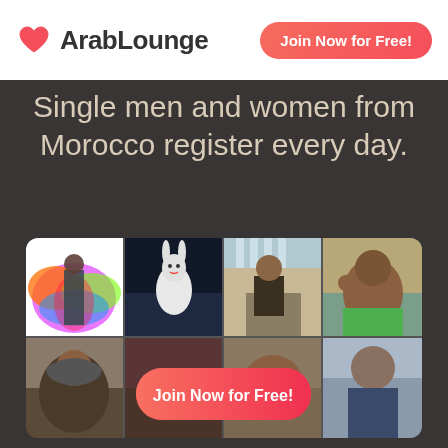[Figure (logo): ArabLounge logo with red heart icon and bold text 'ArabLounge']
Join Now for Free!
Single men and women from Morocco register every day.
[Figure (photo): Grid of 6 profile photos of men from Morocco, with a 'Join Now for Free!' button overlaid in the center-bottom of the grid]
Join Now for Free!